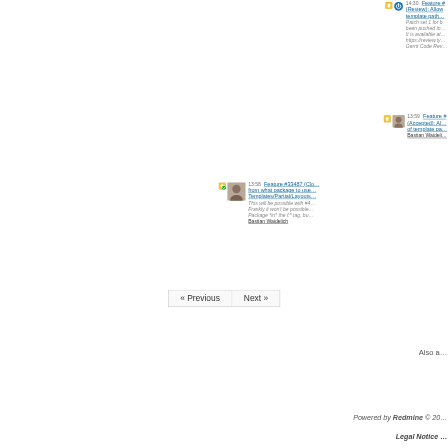14:30 Feature # (Review): Allow template path... Patch set 1 for been pushed to It is available at https://review.ty... Gerrit Code Rev...
13:59 Feature # (Accepted): Al... of template pa... Bastian Waideli...
13:58 Feature #33487 (Clo... from what package to use Templates/Partial/Layouts... This will be possible with #4... Frankly it won't be possible... Package *in* the f:* tag, bu... Bastian Waidelich
« Previous | Next »
Also a...
Powered by Redmine © 20...
Legal Notice ...